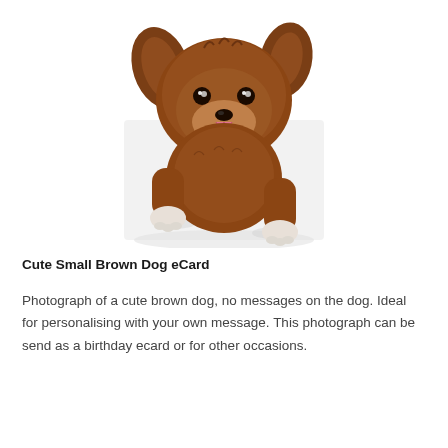[Figure (photo): Photograph of a cute small fluffy brown dog with white paws, tongue out, leaning over a white surface, photographed from above against a white background.]
Cute Small Brown Dog eCard
Photograph of a cute brown dog, no messages on the dog. Ideal for personalising with your own message. This photograph can be send as a birthday ecard or for other occasions.